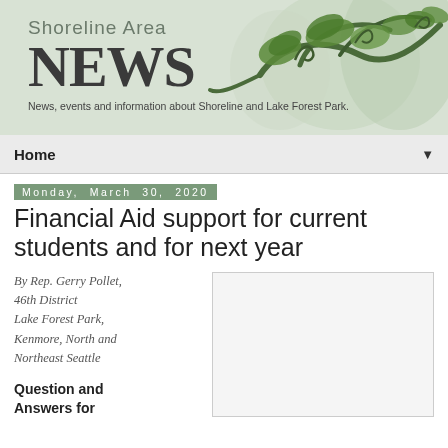[Figure (logo): Shoreline Area News banner with decorative green vine/swirl illustration and tagline]
Home
Monday, March 30, 2020
Financial Aid support for current students and for next year
By Rep. Gerry Pollet, 46th District Lake Forest Park, Kenmore, North and Northeast Seattle
Question and Answers for